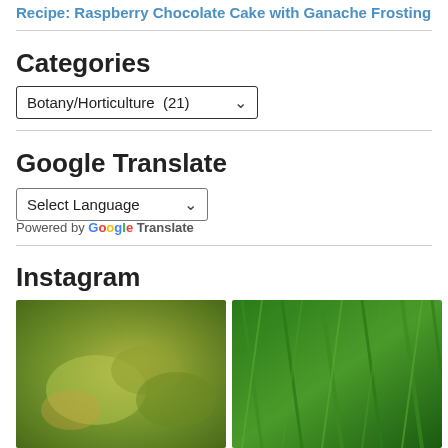Recipe: Raspberry Chocolate Cake with Ganache Frosting
Categories
Botany/Horticulture  (21)
Google Translate
Select Language
Powered by Google Translate
Instagram
[Figure (photo): Close-up photo of green plant with yellow-green pitcher plants]
[Figure (photo): Close-up photo of dense green grass or reeds]